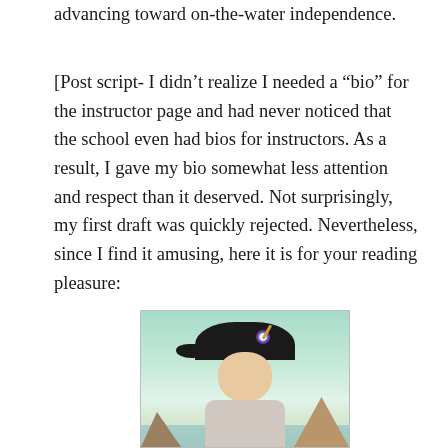advancing toward on-the-water independence.
[Post script- I didn’t realize I needed a “bio” for the instructor page and had never noticed that the school even had bios for instructors. As a result, I gave my bio somewhat less attention and respect than it deserved. Not surprisingly, my first draft was quickly rejected. Nevertheless, since I find it amusing, here it is for your reading pleasure:
[Figure (photo): A man wearing a large black bicorne (Napoleon-style) hat with a colorful badge/cockade and a gold feather, smiling, with a coastal background showing water and hills.]